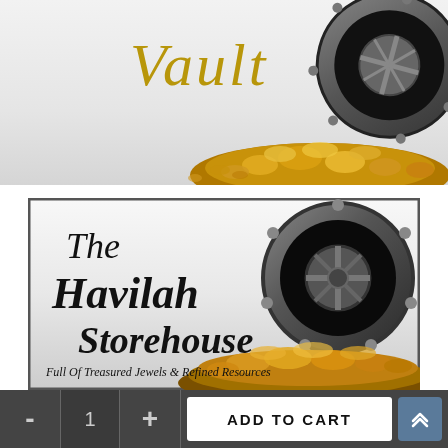[Figure (illustration): Top banner showing the word 'Vault' in gold italic script with an open metal safe door and gold coins/nuggets spilling out, on a light gray background]
[Figure (illustration): Product card with framed border showing an open vault/safe with gold coins spilling out, text reads 'The Havilah Storehouse - Full Of Treasured Jewels & Refined Resources' in decorative italic black font]
The Havilah Storehouse
Full Of Treasured Jewels & Refined Resources
- 1 + ADD TO CART